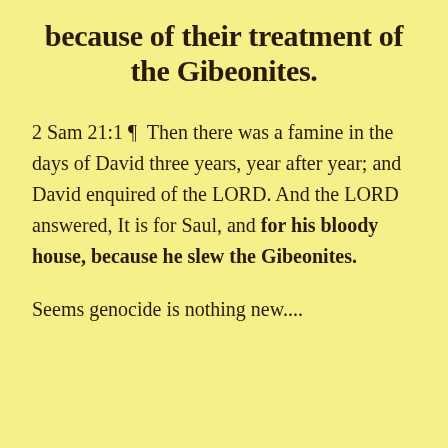because of their treatment of the Gibeonites.
2 Sam 21:1 ¶  Then there was a famine in the days of David three years, year after year; and David enquired of the LORD. And the LORD answered, It is for Saul, and for his bloody house, because he slew the Gibeonites.
Seems genocide is nothing new....